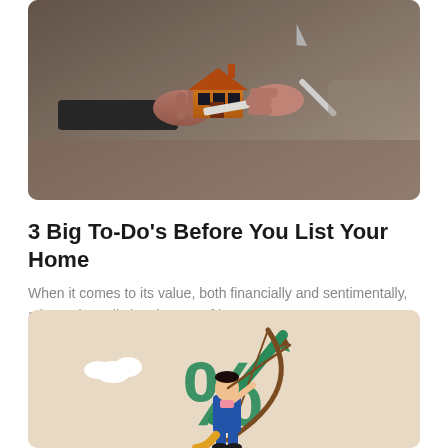[Figure (photo): Close-up photo of two hands exchanging a small model house and a pen/card over a desk — a real estate handover scene. One hand wears a suit jacket sleeve.]
3 Big To-Do's Before You List Your Home
When it comes to its value, both financially and sentimentally, a home is really in a league of its own....
[Figure (illustration): Flat-style illustration on a beige background showing a person in a blue suit shooting an arrow (bow and arrow) at a large green percent sign with an upward green arrow through it, representing rising interest rates.]